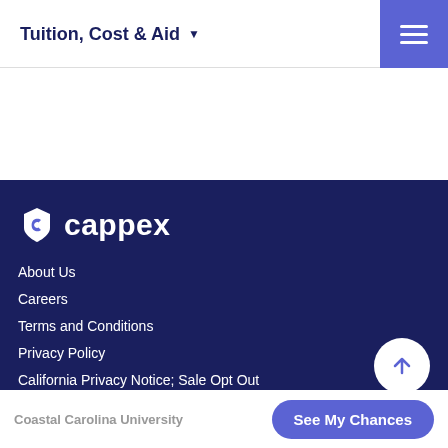Tuition, Cost & Aid ▼
[Figure (logo): Cappex logo - white C shield icon followed by 'cappex' text in white on dark navy background]
About Us
Careers
Terms and Conditions
Privacy Policy
California Privacy Notice; Sale Opt Out
Coastal Carolina University   See My Chances